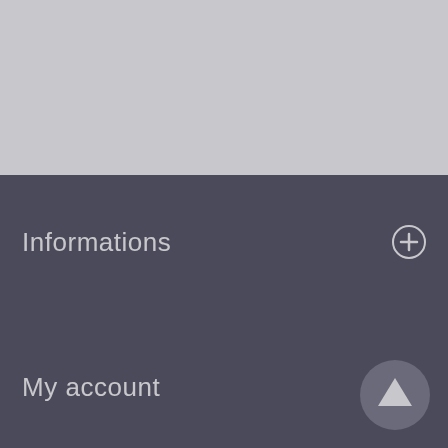[Figure (screenshot): Top grey bar area, lighter grey color occupying top portion of the page]
Informations
My account